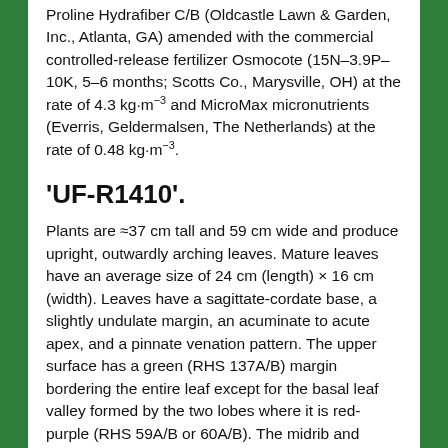Proline Hydrafiber C/B (Oldcastle Lawn & Garden, Inc., Atlanta, GA) amended with the commercial controlled-release fertilizer Osmocote (15N–3.9P–10K, 5–6 months; Scotts Co., Marysville, OH) at the rate of 4.3 kg·m⁻³ and MicroMax micronutrients (Everris, Geldermalsen, The Netherlands) at the rate of 0.48 kg·m⁻³.
'UF-R1410'.
Plants are ≈37 cm tall and 59 cm wide and produce upright, outwardly arching leaves. Mature leaves have an average size of 24 cm (length) × 16 cm (width). Leaves have a sagittate-cordate base, a slightly undulate margin, an acuminate to acute apex, and a pinnate venation pattern. The upper surface has a green (RHS 137A/B) margin bordering the entire leaf except for the basal leaf valley formed by the two lobes where it is red-purple (RHS 59A/B or 60A/B). The midrib and primary veins are yellow-white